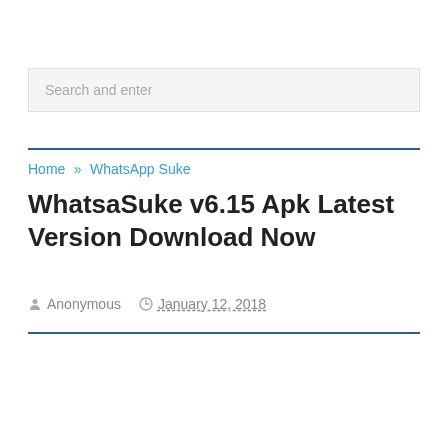Search and enter
Home » WhatsApp Suke
WhatsaSuke v6.15 Apk Latest Version Download Now
Anonymous   January 12, 2018